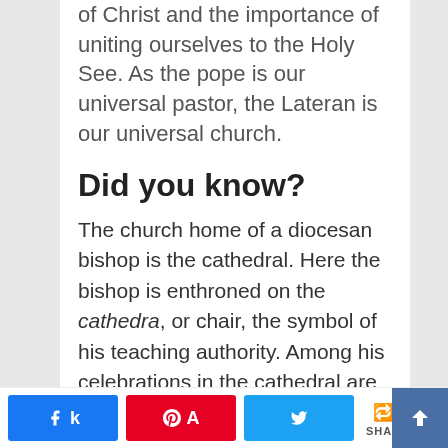of Christ and the importance of uniting ourselves to the Holy See. As the pope is our universal pastor, the Lateran is our universal church.
Did you know?
The church home of a diocesan bishop is the cathedral. Here the bishop is enthroned on the cathedra, or chair, the symbol of his teaching authority. Among his celebrations in the cathedral are ordinations, baptisms, confirmations, the blessing of the holy oils and celebrating great feasts of the Church such as the Triduum. In the Diocese of Rome, the official church of the Bishop of Rome, the pope, is St.
0 SHARES